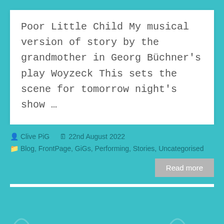Poor Little Child My musical version of story by the grandmother in Georg Büchner's play Woyzeck This sets the scene for tomorrow night's show …
Clive PiG   22nd August 2022
Blog, FrontPage, GiGs, Performing, Stories, Uncategorised
Read more
The Sun Owl